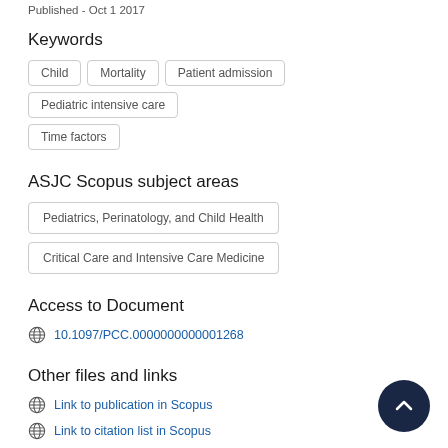Published - Oct 1 2017
Keywords
Child
Mortality
Patient admission
Pediatric intensive care
Time factors
ASJC Scopus subject areas
Pediatrics, Perinatology, and Child Health
Critical Care and Intensive Care Medicine
Access to Document
10.1097/PCC.0000000000001268
Other files and links
Link to publication in Scopus
Link to citation list in Scopus